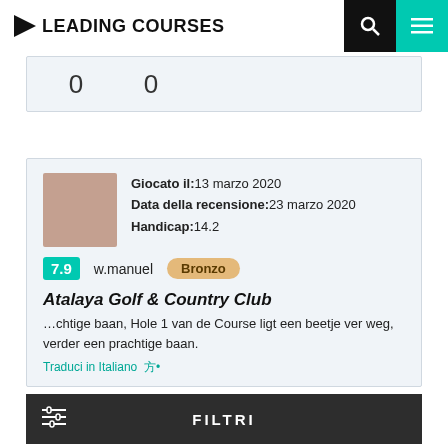LEADING COURSES
|  | 0 | 0 |
| --- | --- | --- |
Giocato il: 13 marzo 2020
Data della recensione: 23 marzo 2020
Handicap: 14.2
7.9  w.manuel  Bronzo
Atalaya Golf & Country Club
…chtige baan, Hole 1 van de Course ligt een beetje ver weg, verder een prachtige baan.
Traduci in Italiano
FILTRI